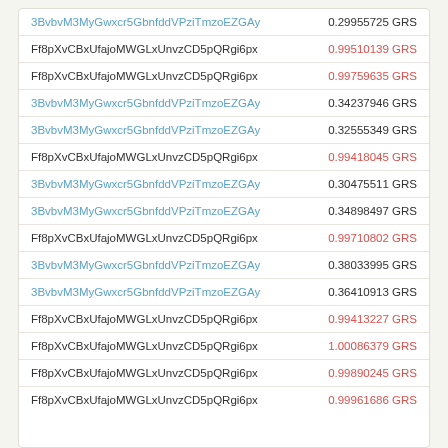| Address | Amount |
| --- | --- |
| 3BvbvM3MyGwxcr5GbnfddVPziTmzoEZGAy | 0.29955725 GRS |
| Ff8pXvCBxUfajoMWGLxUnvzCD5pQRgi6px | 0.99510139 GRS |
| Ff8pXvCBxUfajoMWGLxUnvzCD5pQRgi6px | 0.99759635 GRS |
| 3BvbvM3MyGwxcr5GbnfddVPziTmzoEZGAy | 0.34237946 GRS |
| 3BvbvM3MyGwxcr5GbnfddVPziTmzoEZGAy | 0.32555349 GRS |
| Ff8pXvCBxUfajoMWGLxUnvzCD5pQRgi6px | 0.99418045 GRS |
| 3BvbvM3MyGwxcr5GbnfddVPziTmzoEZGAy | 0.30475511 GRS |
| 3BvbvM3MyGwxcr5GbnfddVPziTmzoEZGAy | 0.34898497 GRS |
| Ff8pXvCBxUfajoMWGLxUnvzCD5pQRgi6px | 0.99710802 GRS |
| 3BvbvM3MyGwxcr5GbnfddVPziTmzoEZGAy | 0.38033995 GRS |
| 3BvbvM3MyGwxcr5GbnfddVPziTmzoEZGAy | 0.36410913 GRS |
| Ff8pXvCBxUfajoMWGLxUnvzCD5pQRgi6px | 0.99413227 GRS |
| Ff8pXvCBxUfajoMWGLxUnvzCD5pQRgi6px | 1.00086379 GRS |
| Ff8pXvCBxUfajoMWGLxUnvzCD5pQRgi6px | 0.99890245 GRS |
| Ff8pXvCBxUfajoMWGLxUnvzCD5pQRgi6px | 0.99961686 GRS |